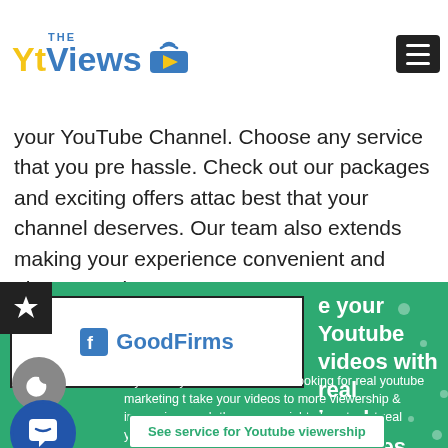THE Yt Views [logo]
your YouTube Channel. Choose any service that you pre hassle. Check out our packages and exciting offers attac best that your channel deserves. Our team also extends making your experience convenient and pleasant. It is 1 y not to delay in your inevitable growth and success a
[Figure (logo): GoodFirms badge/logo with 'f' icon and GoodFirms text]
e your Youtube videos with real ional services
If you are youtube creator and looking for real youtube marketing t take your videos to more viewership & increasing reach than you ar right place to get real youtube marketing solutions
See service for Youtube viewership